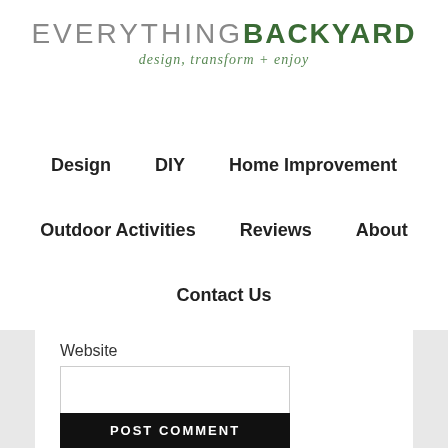[Figure (logo): Everything Backyard logo with tagline 'design, transform + enjoy']
Design   DIY   Home Improvement
Outdoor Activities   Reviews   About
Contact Us
Website
POST COMMENT